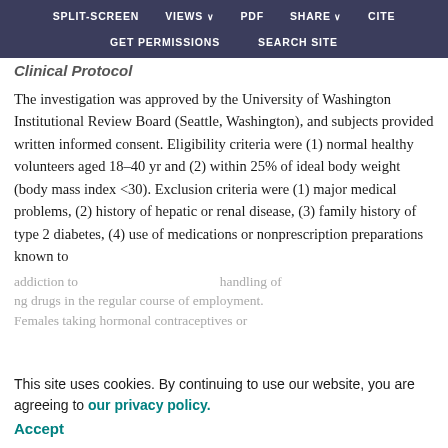SPLIT-SCREEN   VIEWS   PDF   SHARE   CITE   GET PERMISSIONS   SEARCH SITE
Clinical Protocol
The investigation was approved by the University of Washington Institutional Review Board (Seattle, Washington), and subjects provided written informed consent. Eligibility criteria were (1) normal healthy volunteers aged 18–40 yr and (2) within 25% of ideal body weight (body mass index <30). Exclusion criteria were (1) major medical problems, (2) history of hepatic or renal disease, (3) family history of type 2 diabetes, (4) use of medications or nonprescription preparations known to
This site uses cookies. By continuing to use our website, you are agreeing to our privacy policy. Accept
addiction to handling of ng drugs in the regular course of employment. Females taking hormonal contraceptives or